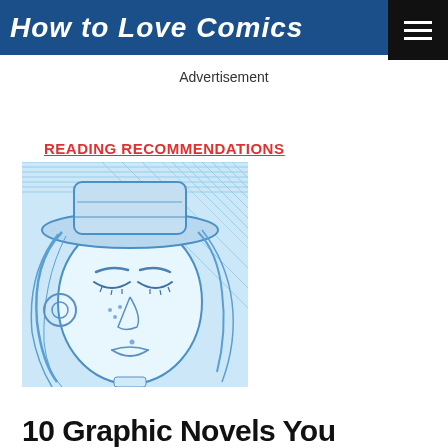How to Love Comics
Advertisement
READING RECOMMENDATIONS
[Figure (illustration): Blue line-art illustration of a woman's face with closed eyes, wearing a hat, in a comic book style]
10 Graphic Novels You